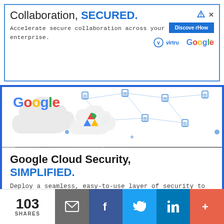[Figure (infographic): Advertisement banner: 'Collaboration, SECURED.' with Virtru and Google logos and a 'Discover How' button]
[Figure (photo): Photo strip showing people in business attire in a dark/grayscale setting with an up-chevron icon]
[Figure (infographic): Google Cloud ad panel showing Google logo with cloud icon and network security graphics in background]
Google Cloud Security, SIMPLIFIED.
Deploy a seamless, easy-to-use layer of security to Google Workspace and GCP, in less than a day.
[Figure (infographic): Green 'Discover How' button and Virtru logo]
103 SHARES
[Figure (infographic): Social sharing bar with email, Facebook, Twitter, LinkedIn, and more buttons]